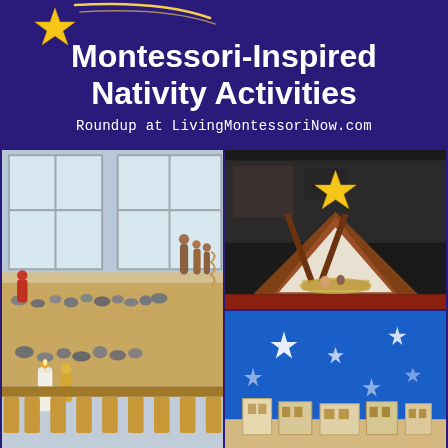Montessori-Inspired Nativity Activities
Roundup at LivingMontessoriNow.com
[Figure (photo): Collage of four photos showing Montessori nativity activities: a wooden stable with star, a windowsill with wooden figures and stones arranged in a path with candle, a blue cloth with stars and wooden block figures, and more of the windowsill scene.]
[Figure (infographic): Social sharing buttons: Pinterest (red), Facebook (blue), Twitter (light blue)]